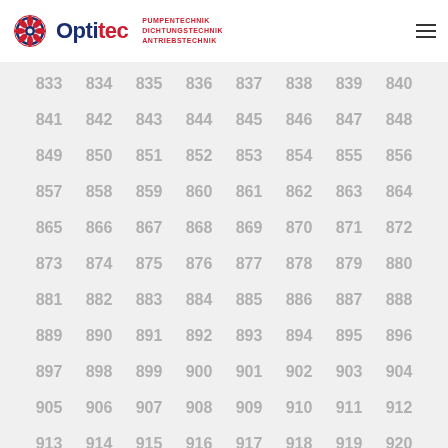[Figure (logo): Optitec logo with gear icon, blue 'Opti' and red 'tec' text, and red taglines: PUMPENTECHNIK, DICHTUNGSTECHNIK, ANTRIEBSTECHNIK]
833 834 835 836 837 838 839 840 841 842 843 844 845 846 847 848 849 850 851 852 853 854 855 856 857 858 859 860 861 862 863 864 865 866 867 868 869 870 871 872 873 874 875 876 877 878 879 880 881 882 883 884 885 886 887 888 889 890 891 892 893 894 895 896 897 898 899 900 901 902 903 904 905 906 907 908 909 910 911 912 913 914 915 916 917 918 919 920